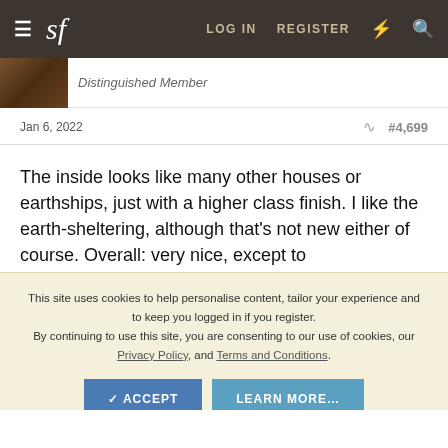sf | LOG IN  REGISTER
Distinguished Member
Jan 6, 2022   #4,699
The inside looks like many other houses or earthships, just with a higher class finish. I like the earth-sheltering, although that's not new either of course. Overall: very nice, except to
This site uses cookies to help personalise content, tailor your experience and to keep you logged in if you register.
By continuing to use this site, you are consenting to our use of cookies, our Privacy Policy, and Terms and Conditions.
✓ ACCEPT   LEARN MORE…